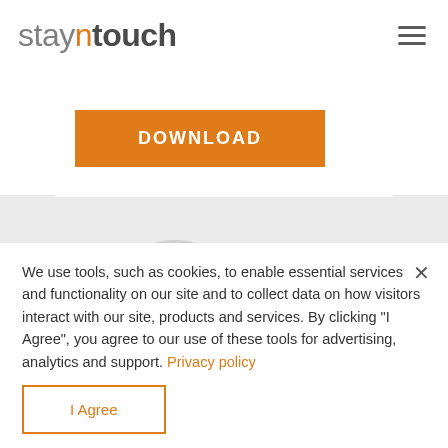[Figure (logo): Stayntouch logo — 'stay' in light grey, 'n' in orange, 'touch' in dark grey bold]
[Figure (illustration): Hamburger menu icon (three horizontal lines) in top right corner]
[Figure (other): Orange DOWNLOAD button on white card area]
[Figure (illustration): Decorative grey background graphic with lines suggesting a stand/tripod shape]
We use tools, such as cookies, to enable essential services and functionality on our site and to collect data on how visitors interact with our site, products and services. By clicking "I Agree", you agree to our use of these tools for advertising, analytics and support. Privacy policy
I Agree